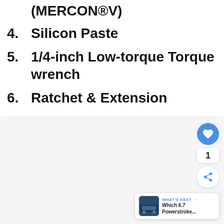(MERCON®V)
4. Silicon Paste
5. 1/4-inch Low-torque Torque wrench
6. Ratchet & Extension
7. Ramps
[Figure (screenshot): Bottom portion of a webpage showing a light gray content area with social interaction buttons (heart/like button, count of 1, share button) on the right side, and a 'WHAT'S NEXT' card in the bottom right corner showing a truck image and text 'Which 6.7 Powerstroke...']